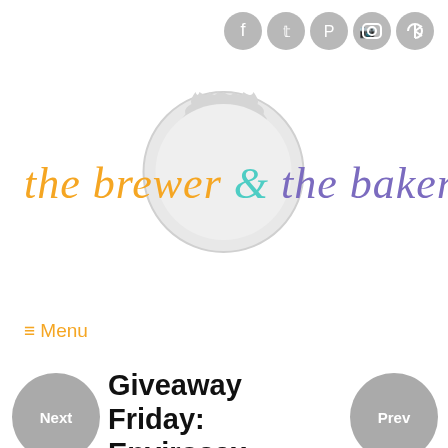[Figure (logo): Social media icons: Facebook, Twitter, Pinterest, Instagram, RSS - circular grey buttons in top right]
[Figure (logo): The Brewer & The Baker blog logo with bottle cap background. 'the brewer' in orange italic, '&' in teal, 'the baker' in purple italic.]
≡ Menu
Giveaway Friday: Envirosax Reusable Grocery Bags (closed)
Shawnda   March 9, 2012
in Giveaways